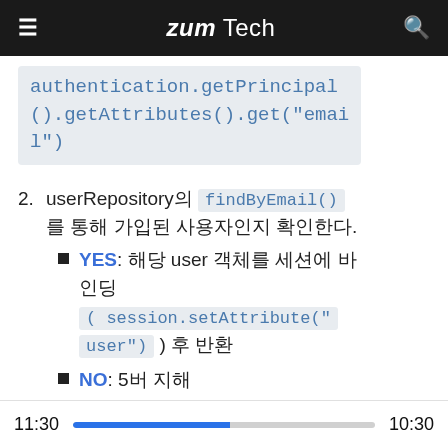zum Tech
authentication.getPrincipal().getAttributes().get("email")
2. userRepository의 findByEmail() 를 통해 가입된 사용자인지 확인한다.
YES: 해당 user 객체를 세션에 바인딩 (session.setAttribute("user")) 후 반환
NO: 5버 지해
11:30  10:30